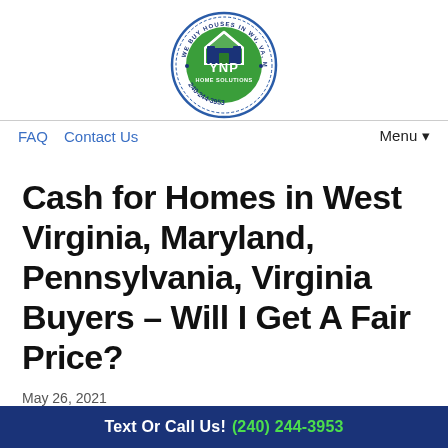[Figure (logo): YNP Home Solutions circular logo. Green and blue house icon with 'YNP' text, circular border reading 'WE BUY HOUSES IN WV, VA, MD, PA' and phone number 240-244-3953]
FAQ  Contact Us  Menu▾
Cash for Homes in West Virginia, Maryland, Pennsylvania, Virginia Buyers – Will I Get A Fair Price?
May 26, 2021
Text Or Call Us! (240) 244-3953